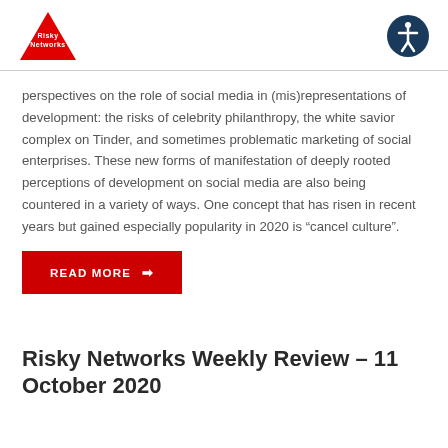Risky Networks | Accessibility
perspectives on the role of social media in (mis)representations of development: the risks of celebrity philanthropy, the white savior complex on Tinder, and sometimes problematic marketing of social enterprises. These new forms of manifestation of deeply rooted perceptions of development on social media are also being countered in a variety of ways. One concept that has risen in recent years but gained especially popularity in 2020 is “cancel culture”.
READ MORE →
Risky Networks Weekly Review – 11 October 2020